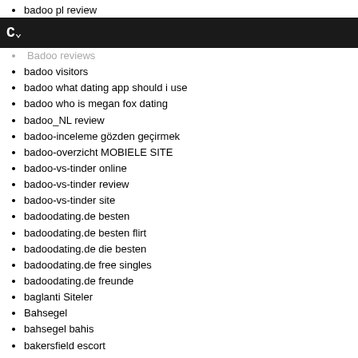badoo pl review
Badoo Preis
C~
Badoo reviews
badoo visitors
badoo what dating app should i use
badoo who is megan fox dating
badoo_NL review
badoo-inceleme gözden geçirmek
badoo-overzicht MOBIELE SITE
badoo-vs-tinder online
badoo-vs-tinder review
badoo-vs-tinder site
badoodating.de besten
badoodating.de besten flirt
badoodating.de die besten
badoodating.de free singles
badoodating.de freunde
baglanti Siteler
Bahsegel
bahsegel bahis
bakersfield escort
bakersfield escort meaning
bakersfield escort sites
bakersfield live escort reviews
bakersfield...